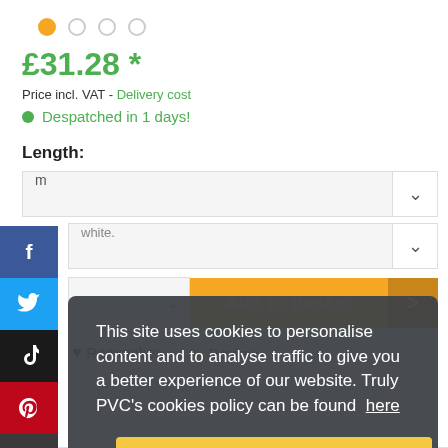[Figure (other): Carousel navigation dots: one filled orange dot followed by three empty/outline dots]
£31.28 *
Price incl. VAT - Delivery cost
Despatched in 1 days!
Length:
[Figure (other): Social media sharing sidebar with icons for Facebook, Twitter, TikTok, Pinterest, Instagram]
This site uses cookies to personalise content and to analyse traffic to give you a better experience of our website. Truly PVC's cookies policy can be found here
I accept cookies.
Remember
Review